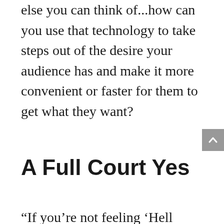else you can think of...how can you use that technology to take steps out of the desire your audience has and make it more convenient or faster for them to get what they want?
A Full Court Yes
“If you’re not feeling ‘Hell